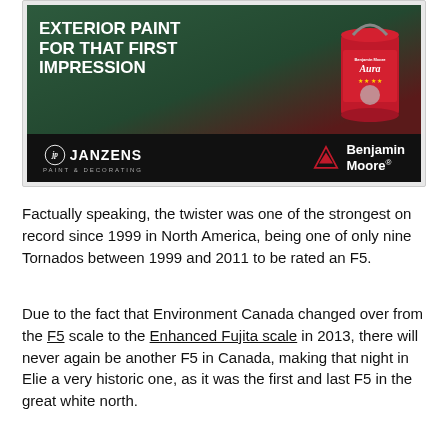[Figure (advertisement): Advertisement for Janzens Paint & Decorating featuring Benjamin Moore Aura Exterior Paint. Shows a dark green front door setting with a red paint can. Bottom bar has black background with Janzens logo and Benjamin Moore logo. Headline reads: EXTERIOR PAINT FOR THAT FIRST IMPRESSION.]
Factually speaking, the twister was one of the strongest on record since 1999 in North America, being one of only nine Tornados between 1999 and 2011 to be rated an F5.
Due to the fact that Environment Canada changed over from the F5 scale to the Enhanced Fujita scale in 2013, there will never again be another F5 in Canada, making that night in Elie a very historic one, as it was the first and last F5 in the great white north.